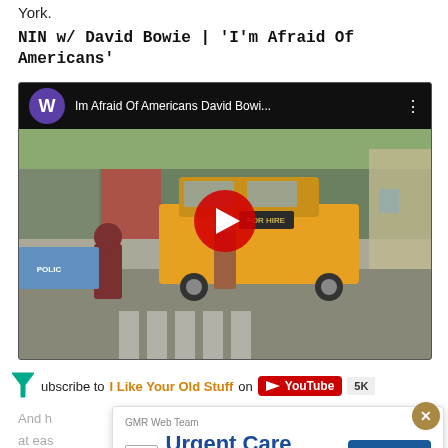York.
NIN w/ David Bowie | 'I'm Afraid Of Americans'
[Figure (screenshot): YouTube video thumbnail showing 'Im Afraid Of Americans David Bowi...' with a street scene, yellow taxi, and pedestrians at a crosswalk. A large red play button is centered. The video channel avatar shows 'W' in purple.]
Subscribe to I Like Your Old Stuff on YouTube 5K
[Figure (other): GMR Web Team advertisement overlay: 'Urgent Care Marketing' with a 'Contact Us' button and GMR logo. Has a close X button in the corner.]
And h                                                                                             tely. at eas                                                                                        rview with k